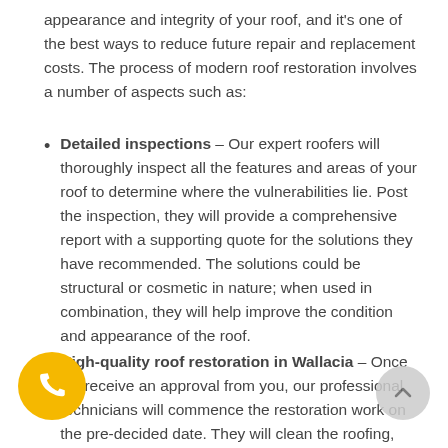appearance and integrity of your roof, and it's one of the best ways to reduce future repair and replacement costs. The process of modern roof restoration involves a number of aspects such as:
Detailed inspections – Our expert roofers will thoroughly inspect all the features and areas of your roof to determine where the vulnerabilities lie. Post the inspection, they will provide a comprehensive report with a supporting quote for the solutions they have recommended. The solutions could be structural or cosmetic in nature; when used in combination, they will help improve the condition and appearance of the roof.
High-quality roof restoration in Wallacia – Once we receive an approval from you, our professional technicians will commence the restoration work on the pre-decided date. They will clean the roofing, point it and paint it in high-quality paints and colours of your choice. Before the painting job, the team will complete all minor repairs and fixes which help